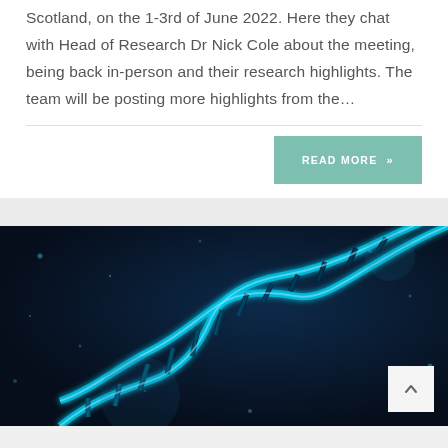Scotland, on the 1-3rd of June 2022. Here they chat with Head of Research Dr Nick Cole about the meeting, being back in-person and their research highlights. The team will be posting more highlights from the…
READ MORE »
[Figure (photo): Blue glowing DNA double helix strand on a dark navy blue background with scattered light particles]